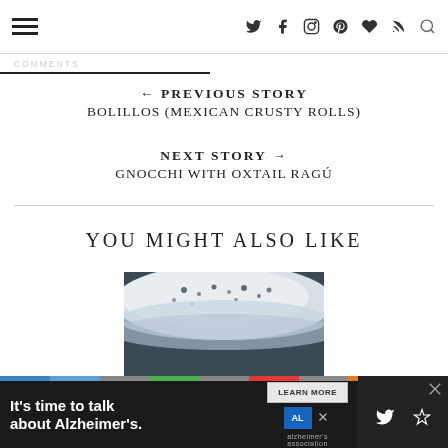Navigation header with hamburger menu and social icons
← PREVIOUS STORY
BOLILLOS (MEXICAN CRUSTY ROLLS)
NEXT STORY →
GNOCCHI WITH OXTAIL RAGÚ
YOU MIGHT ALSO LIKE
[Figure (photo): Close-up photo of a foamy white bread dough or beer head]
It's time to talk about Alzheimer's. LEARN MORE